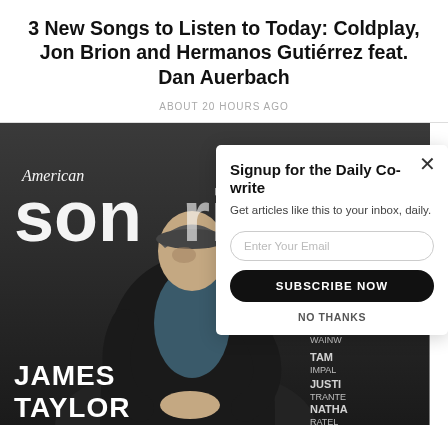3 New Songs to Listen to Today: Coldplay, Jon Brion and Hermanos Gutiérrez feat. Dan Auerbach
ABOUT 20 HOURS AGO
[Figure (photo): American Songwriter magazine cover featuring James Taylor, with partial text visible: RU, WAINW, TAM, IMPAL, JUSTI, TRANTER, NATHA, RATEL]
Signup for the Daily Co-write
Get articles like this to your inbox, daily.
Enter Your Email
SUBSCRIBE NOW
NO THANKS